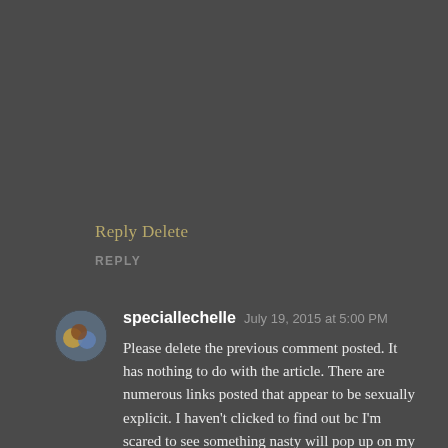Reply Delete
REPLY
speciallechelle  July 19, 2015 at 5:00 PM
Please delete the previous comment posted. It has nothing to do with the article. There are numerous links posted that appear to be sexually explicit. I haven't clicked to find out bc I'm scared to see something nasty will pop up on my screen. Thanks.
REPLY